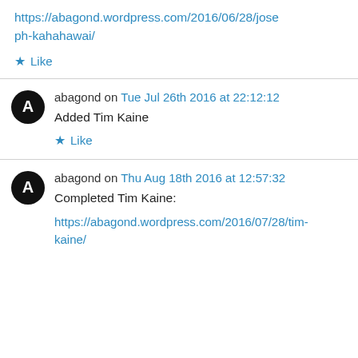https://abagond.wordpress.com/2016/06/28/joseph-kahahawai/
★ Like
abagond on Tue Jul 26th 2016 at 22:12:12
Added Tim Kaine
★ Like
abagond on Thu Aug 18th 2016 at 12:57:32
Completed Tim Kaine:
https://abagond.wordpress.com/2016/07/28/tim-kaine/